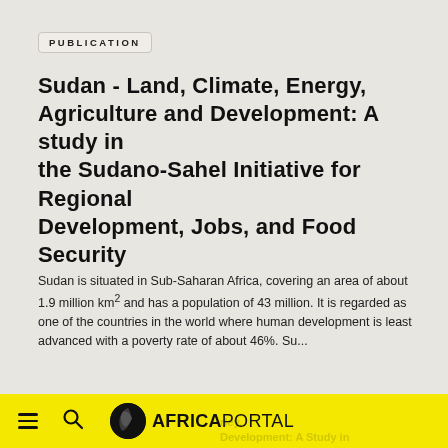PUBLICATION
Sudan - Land, Climate, Energy, Agriculture and Development: A study in the Sudano-Sahel Initiative for Regional Development, Jobs, and Food Security
Sudan is situated in Sub-Saharan Africa, covering an area of about 1.9 million km² and has a population of 43 million. It is regarded as one of the countries in the world where human development is least advanced with a poverty rate of about 46%. Su...
ABDELRAHMAN KHIDIR OSMAN
ADIL MOHAMED
[Figure (other): Document page count badge showing 77 pages]
PUBLICATION
AFRICA PORTAL